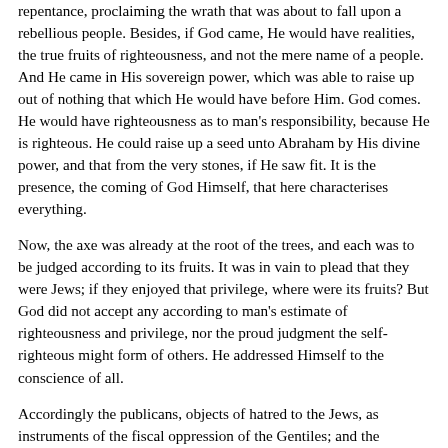repentance, proclaiming the wrath that was about to fall upon a rebellious people. Besides, if God came, He would have realities, the true fruits of righteousness, and not the mere name of a people. And He came in His sovereign power, which was able to raise up out of nothing that which He would have before Him. God comes. He would have righteousness as to man's responsibility, because He is righteous. He could raise up a seed unto Abraham by His divine power, and that from the very stones, if He saw fit. It is the presence, the coming of God Himself, that here characterises everything.
Now, the axe was already at the root of the trees, and each was to be judged according to its fruits. It was in vain to plead that they were Jews; if they enjoyed that privilege, where were its fruits? But God did not accept any according to man's estimate of righteousness and privilege, nor the proud judgment the self-righteous might form of others. He addressed Himself to the conscience of all.
Accordingly the publicans, objects of hatred to the Jews, as instruments of the fiscal oppression of the Gentiles; and the soldiers, who executed the arbitrary mandates of the kings, imposed on the people by the Roman will, or that of heathen governors, were exhorted to act in accordance with that which the true fear of God would produce, in contrast with the iniquity habitually practised in accordance with the will of man; the